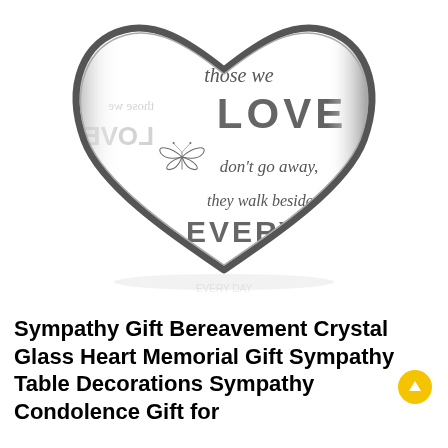[Figure (photo): A crystal glass heart-shaped keepsake with engraved text reading: 'those we LOVE don't go away, they walk beside us EVERY DAY' with a butterfly illustration, shown on white background with slight reflection.]
Sympathy Gift Bereavement Crystal Glass Heart Memorial Gift Sympathy Table Decorations Sympathy Condolence Gift for